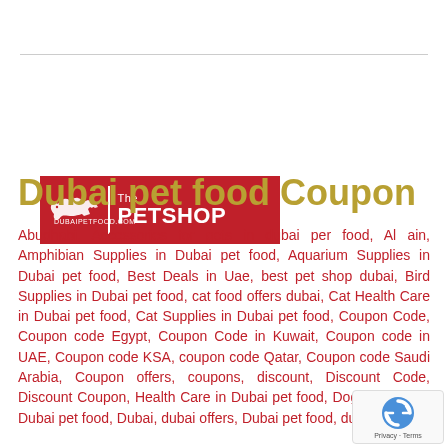[Figure (logo): DubaiPetFood.com The PETSHOP logo on red background with running dog silhouette]
Dubai pet food Coupon
Abudhabi, Accessories for pets in dubai per food, Al ain, Amphibian Supplies in Dubai pet food, Aquarium Supplies in Dubai pet food, Best Deals in Uae, best pet shop dubai, Bird Supplies in Dubai pet food, cat food offers dubai, Cat Health Care in Dubai pet food, Cat Supplies in Dubai pet food, Coupon Code, Coupon code Egypt, Coupon Code in Kuwait, Coupon code in UAE, Coupon code KSA, coupon code Qatar, Coupon code Saudi Arabia, Coupon offers, coupons, discount, Discount Code, Discount Coupon, Health Care in Dubai pet food, Dog supplies in Dubai pet food, Dubai, dubai offers, Dubai pet food, dubai pet food